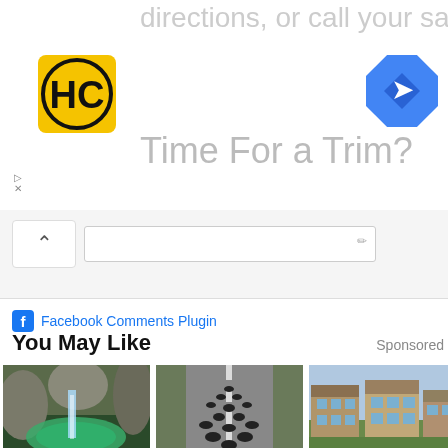[Figure (screenshot): Advertisement banner with HC logo, navigation icon, top text 'directions, or call your salon!' and main text 'Time For a Trim?']
Facebook Comments Plugin
You May Like
Sponsored
[Figure (photo): Waterfall and exotic green pool among rocks]
Top 10 The Most Exotic Pools On Earth
wolrdame.com
[Figure (photo): Hells Angels motorcycle group riding on highway, aerial view]
The Laws Of The Hells Angels Are Seriously Strict
BestFamilyMag.com
[Figure (photo): Modern townhouse retirement villas]
Retirement Villas in Ashburn Might Surprise You
Senior Housing